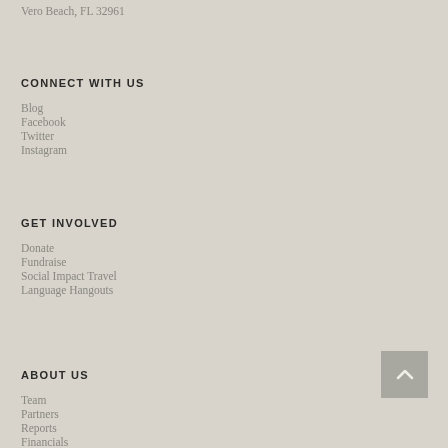Vero Beach, FL 32961
CONNECT WITH US
Blog
Facebook
Twitter
Instagram
GET INVOLVED
Donate
Fundraise
Social Impact Travel
Language Hangouts
ABOUT US
Team
Partners
Reports
Financials